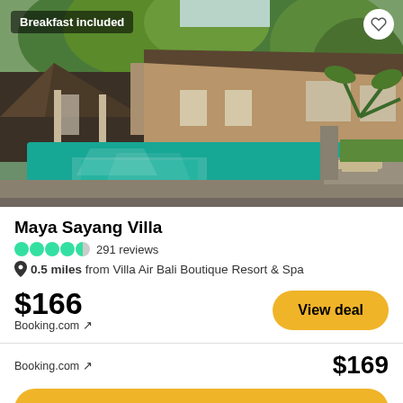[Figure (photo): Tropical villa with blue swimming pool, traditional Balinese thatched-roof gazebo, lush green trees and plants, outdoor lounge chairs]
Breakfast included
Maya Sayang Villa
291 reviews
0.5 miles from Villa Air Bali Boutique Resort & Spa
$166
Booking.com ↗
View deal
Booking.com ↗
$169
View deal